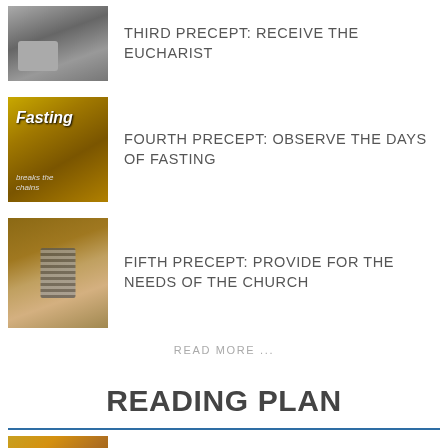THIRD PRECEPT: RECEIVE THE EUCHARIST
FOURTH PRECEPT: OBSERVE THE DAYS OF FASTING
FIFTH PRECEPT: PROVIDE FOR THE NEEDS OF THE CHURCH
READ MORE ...
READING PLAN
CATHOLICISM & THEOLOGY